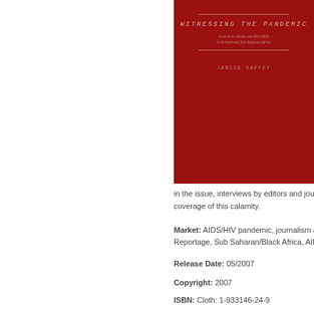[Figure (illustration): Red book cover titled 'Witnessing the Pandemic: Irish Print Media and HIV/AIDS in Ireland and Sub-Saharan Africa' by Janice Gaffey]
coverage situate to the Africa,
Ireland colonia missio 19th c of the Anglo initially transm fearing
in the issue, interviews by editors and journalists coverage of this calamity.
Market:  AIDS/HIV pandemic, journalism a Reportage, Sub Saharan/Black Africa, AIDS
Release Date:  05/2007
Copyright:  2007
ISBN:  Cloth: 1-933146-24-9
Price:  $70.95